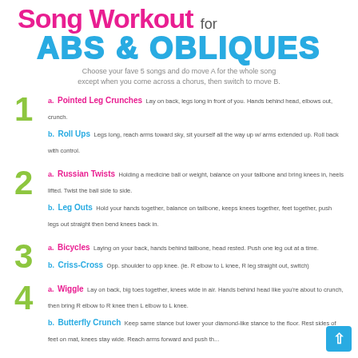Song Workout for ABS & OBLIQUES
Choose your fave 5 songs and do move A for the whole song except when you come across a chorus, then switch to move B.
1. a. Pointed Leg Crunches - Lay on back, legs long in front of you. Hands behind head, elbows out, crunch. b. Roll Ups - Legs long, reach arms toward sky, sit yourself all the way up w/ arms extended up. Roll back with control.
2. a. Russian Twists - Holding a medicine ball or weight, balance on your tailbone and bring knees in, heels lifted. Twist the ball side to side. b. Leg Outs - Hold your hands together, balance on tailbone, keeps knees together, feet together, push legs out straight then bend knees back in.
3. a. Bicycles - Laying on your back, hands behind tailbone, head rested. Push one leg out at a time. b. Criss-Cross - Opp. shoulder to opp knee. (ie. R elbow to L knee, R leg straight out, switch)
4. a. Wiggle - Lay on back, big toes together, knees wide in air. Hands behind head like you're about to crunch, then bring R elbow to R knee then L elbow to L knee. b. Butterfly Crunch - Keep same stance but lower your diamond-like stance to the floor. Rest sides of feet on mat, knees stay wide. Reach arms forward and push them.
5. a. Flutters - Rest head, shoulders on floor, place hands underneath your tailbone. Lift legs off mat and straight out. Open legs out and in like sideways scissors.